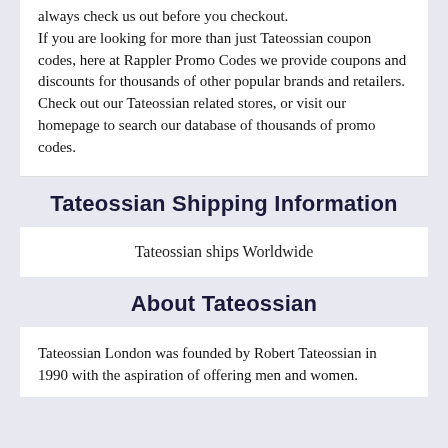always check us out before you checkout.

If you are looking for more than just Tateossian coupon codes, here at Rappler Promo Codes we provide coupons and discounts for thousands of other popular brands and retailers. Check out our Tateossian related stores, or visit our homepage to search our database of thousands of promo codes.
Tateossian Shipping Information
Tateossian ships Worldwide
About Tateossian
Tateossian London was founded by Robert Tateossian in 1990 with the aspiration of offering men and women.